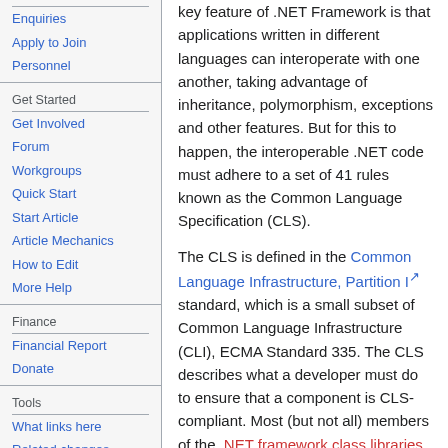Enquiries
Apply to Join
Personnel
Get Started
Get Involved
Forum
Workgroups
Quick Start
Start Article
Article Mechanics
How to Edit
More Help
Finance
Financial Report
Donate
Tools
What links here
Related changes
Special pages
Printable version
key feature of .NET Framework is that applications written in different languages can interoperate with one another, taking advantage of inheritance, polymorphism, exceptions and other features. But for this to happen, the interoperable .NET code must adhere to a set of 41 rules known as the Common Language Specification (CLS).
The CLS is defined in the Common Language Infrastructure, Partition I standard, which is a small subset of Common Language Infrastructure (CLI), ECMA Standard 335. The CLS describes what a developer must do to ensure that a component is CLS-compliant. Most (but not all) members of the .NET framework class libraries are CLS-compliant. The ECMA standard is in its fourth edition as of 2006, and the same